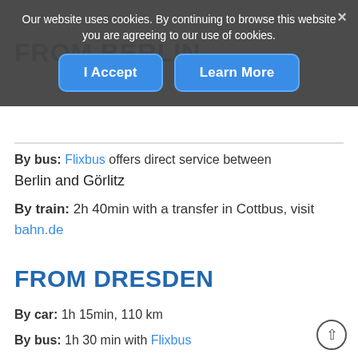Our website uses cookies. By continuing to browse this website you are agreeing to our use of cookies.
I Accept | Learn More
FROM BERLIN
By bus: Flixbus offers direct service between Berlin and Görlitz
By train: 2h 40min with a transfer in Cottbus, visit bahn.de
FROM DRESDEN
By car: 1h 15min, 110 km
By bus: 1h 30 min with Flixbus
Train: 1h 30min, visit bahn.de